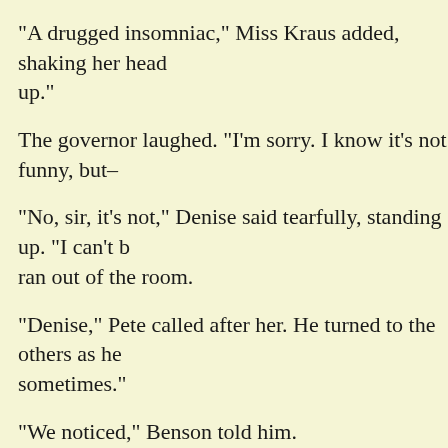"A drugged insomniac," Miss Kraus added, shaking her head up."
The governor laughed. "I'm sorry. I know it's not funny, but–
"No, sir, it's not," Denise said tearfully, standing up. "I can't b ran out of the room.
"Denise," Pete called after her. He turned to the others as he sometimes."
"We noticed," Benson told him.
"I'll apologize to her later," the governor said. "It was an hon left, but I had no idea that storm would move so fast."
"I know, sir." Benson sighed. "Well, I guess I'd better put Cla
"That would be nice of you," the governor replied.
"Yeah, that's me. Mr. Nice Guy," he muttered. "C'mon, Clayt now."